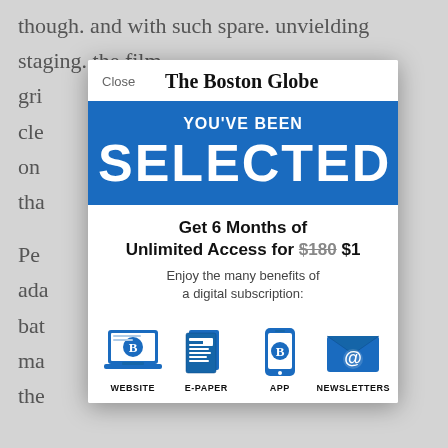though. and with such spare. unvielding staging. the film gri... cle... on... tha... Pe... ada... bat... ma... the...
[Figure (screenshot): The Boston Globe subscription modal popup. Header shows 'Close' and 'The Boston Globe' masthead. Blue banner reads 'YOU'VE BEEN SELECTED'. Offer text: 'Get 6 Months of Unlimited Access for $180 $1'. Subtext: 'Enjoy the many benefits of a digital subscription:'. Icons for WEBSITE, E-PAPER, APP, NEWSLETTERS.]